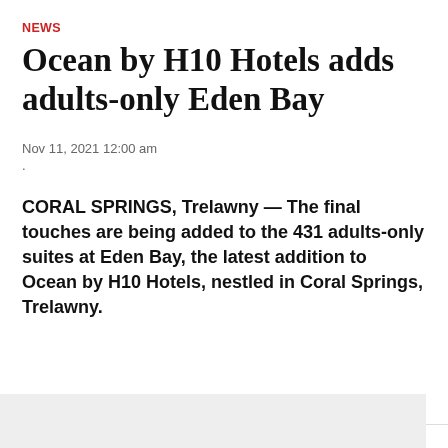NEWS
Ocean by H10 Hotels adds adults-only Eden Bay
Nov 11, 2021 12:00 am
.
CORAL SPRINGS, Trelawny — The final touches are being added to the 431 adults-only suites at Eden Bay, the latest addition to Ocean by H10 Hotels, nestled in Coral Springs, Trelawny.
ADVERTISEMENT